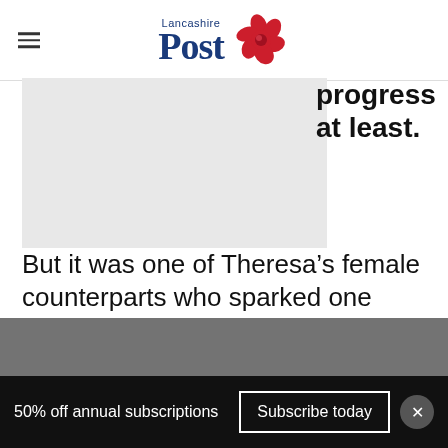Lancashire Post
[Figure (photo): Article image placeholder (gray box)]
progress at least.
But it was one of Theresa's female counterparts who sparked one debate, alluding - clumsily - that a woman with no children can't have a stake in the country's future.
50% off annual subscriptions
Subscribe today